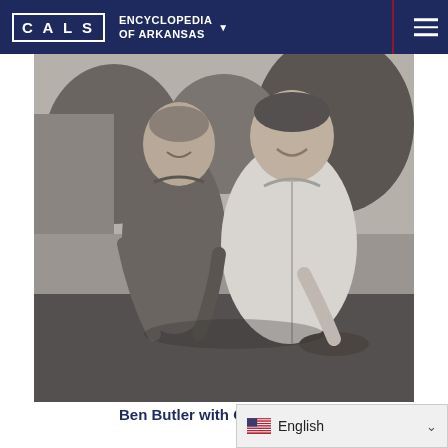CALS ENCYCLOPEDIA OF ARKANSAS
[Figure (photo): Black and white photograph of two men standing together outdoors. The man on the left is shorter, wearing a short-sleeved shirt, with thinning hair, smiling. The man on the right is taller and heavier-set, wearing a white long-sleeved shirt, also smiling. Trees and a building are visible in the background.]
Ben Butler with Orval Faubus